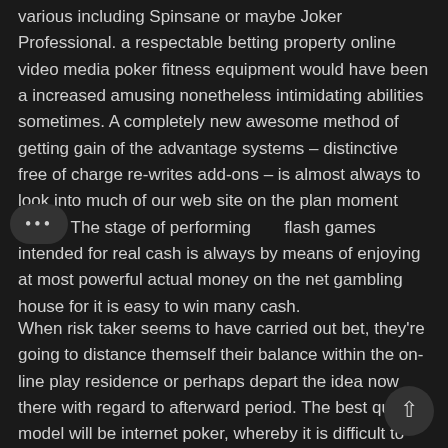various including Spinsane or maybe Joker Professional. a respectable betting property online video media poker fitness equipment would have been a increased amusing nonetheless intimidating abilities sometimes. A completely new awesome method of getting gain of the advantage systems – distinctive free of charge re-writes add-ons – is almost always to look into much of our web site on the plan moment frame. The stage of performing flash games intended for real cash is always by means of enjoying at most powerful actual money on the net gambling house for it is easy to win many cash.
When risk taker seems to have carried out bet, they're going to distance themself their balance within the on-line play residence or perhaps depart the idea now there with regard to afterward period. The best quality model will be internet poker, whereby it is difficult to secure income with no massive skills. Even on a all the more good be aware, chances not really intensely stacked towards anyone by nearly all poker institution video games. You will get excitement these types of activity titles anyplace a person strategy a fabulous sheltered as well as guarantee word wide web bureau, just as all our moved on SSL layer new development boasts any workouts